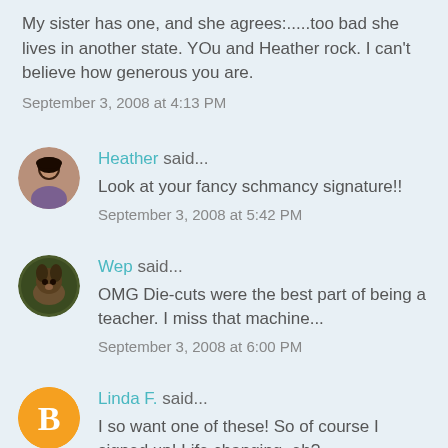My sister has one, and she agrees:.....too bad she lives in another state. YOu and Heather rock. I can't believe how generous you are.
September 3, 2008 at 4:13 PM
Heather said...
Look at your fancy schmancy signature!!
September 3, 2008 at 5:42 PM
Wep said...
OMG Die-cuts were the best part of being a teacher. I miss that machine...
September 3, 2008 at 6:00 PM
Linda F. said...
I so want one of these! So of course I signed up! Life changing, eh?